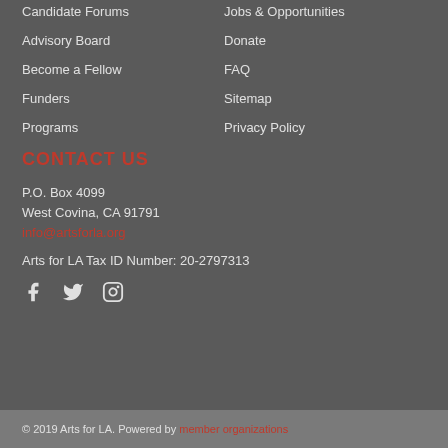Candidate Forums
Jobs & Opportunities
Advisory Board
Donate
Become a Fellow
FAQ
Funders
Sitemap
Programs
Privacy Policy
CONTACT US
P.O. Box 4099
West Covina, CA 91791
info@artsforla.org
Arts for LA Tax ID Number: 20-2797313
[Figure (infographic): Social media icons: Facebook, Twitter, Instagram]
© 2019 Arts for LA. Powered by member organizations